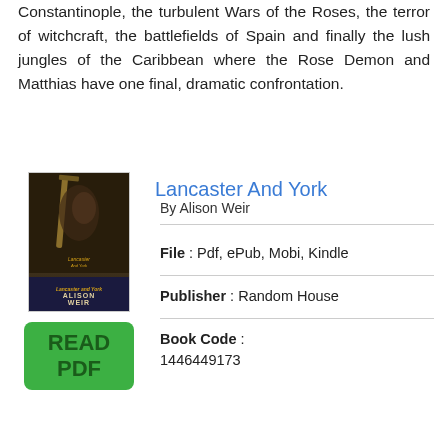Constantinople, the turbulent Wars of the Roses, the terror of witchcraft, the battlefields of Spain and finally the lush jungles of the Caribbean where the Rose Demon and Matthias have one final, dramatic confrontation.
Lancaster And York
By Alison Weir
[Figure (illustration): Book cover of Lancaster And York by Alison Weir showing a dark background with a figure and sword, author name at bottom]
[Figure (other): Green button with text READ PDF]
File : Pdf, ePub, Mobi, Kindle
Publisher : Random House
Book Code : 1446449173